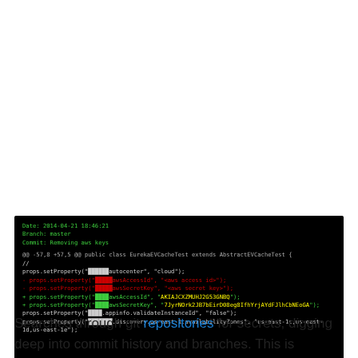[Figure (screenshot): A dark terminal/diff view showing a git commit. Date: 2014-04-21 18:46:21, Branch: master, Commit: Removing aws keys. Shows a code diff with lines adding/removing AWS access credentials including an access key 'AKIAJCXZMUHJ2G53GNBQ' and a secret key '7JyrNOrk2JB7bEirD08eg8IfhYrjAYdFJlhCbNEoGA'.]
Searches through git repositories for secrets, digging deep into commit history and branches. This is effective at finding secrets